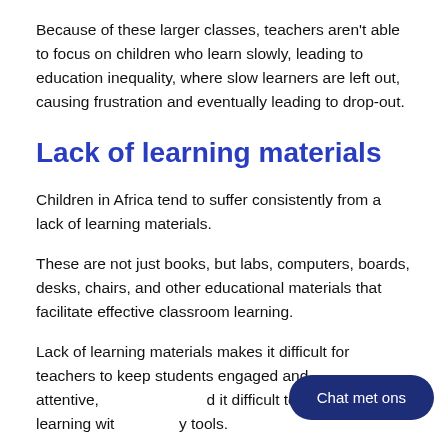Because of these larger classes, teachers aren't able to focus on children who learn slowly, leading to education inequality, where slow learners are left out, causing frustration and eventually leading to drop-out.
Lack of learning materials
Children in Africa tend to suffer consistently from a lack of learning materials.
These are not just books, but labs, computers, boards, desks, chairs, and other educational materials that facilitate effective classroom learning.
Lack of learning materials makes it difficult for teachers to keep students engaged and attentive, and it difficult to cope with their learning without necessary tools.